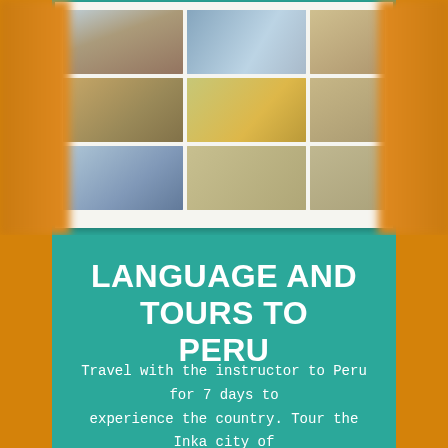[Figure (photo): A collage of 9 photographs arranged in a 3x3 grid on a white background, showing scenes from Peru including ruins of Machu Picchu/Inka stonework, mountain landscapes, and tourists/visitors exploring the sites. The collage appears partially obscured/blurred at the edges.]
LANGUAGE AND TOURS TO PERU
Travel with the instructor to Peru for 7 days to experience the country. Tour the Inka city of Machu Picchu and the modern city of Lima to practice all the Spanish you have learned in a